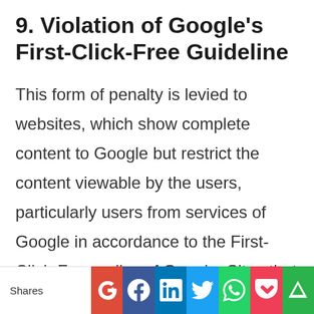9. Violation of Google's First-Click-Free Guideline
This form of penalty is levied to websites, which show complete content to Google but restrict the content viewable by the users, particularly users from services of Google in accordance to the First-Click-Free policy of Google. Sites that ask users to subscribe, log in, or register to view the full content are directly violating
[Figure (other): Social sharing bar with Shares label and buttons for Google+, Facebook, LinkedIn, Twitter, WhatsApp, Pocket, and Feedly]